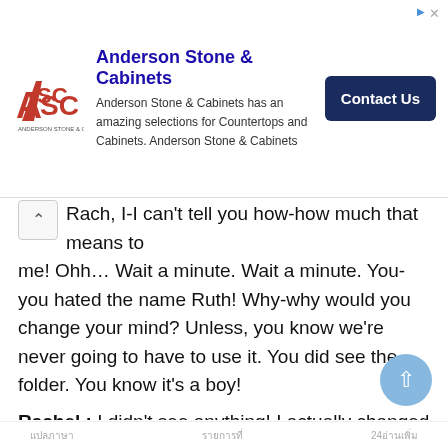[Figure (infographic): Advertisement banner for Anderson Stone & Cabinets with ASC logo, descriptive text, and a dark blue 'Contact Us' button. Ad icons (triangle and X) in top right corner.]
Rach, I-I can't tell you how-how much that means to me! Ohh… Wait a minute. Wait a minute. You-you hated the name Ruth! Why-why would you change your mind? Unless, you know we're never going to have to use it. You did see the folder. You know it's a boy!
Rachel : I didn't see anything! I actually changed my mind about the name.
Ross : I don't think so! You're just giving me Ruth so you'll get to name it when it's a boy, and that's when you'll swoop in and name him Heath or Blaine or Sequoia.
Rachel : I would, Sequoia?
แปลภาษา          รายการที่          24อ่านเพิ่ม